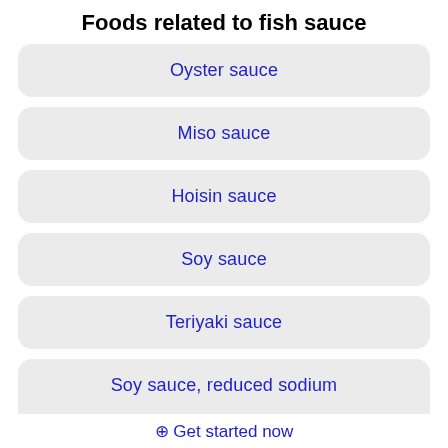Foods related to fish sauce
Oyster sauce
Miso sauce
Hoisin sauce
Soy sauce
Teriyaki sauce
Soy sauce, reduced sodium
⊕ Get started now